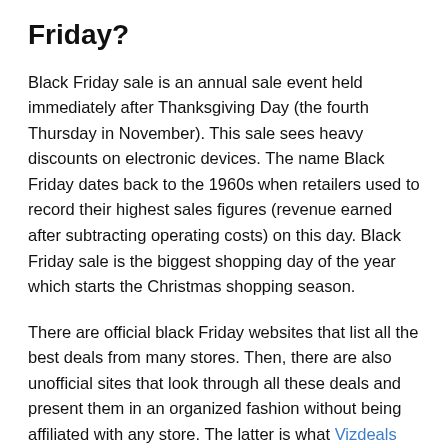Friday?
Black Friday sale is an annual sale event held immediately after Thanksgiving Day (the fourth Thursday in November). This sale sees heavy discounts on electronic devices. The name Black Friday dates back to the 1960s when retailers used to record their highest sales figures (revenue earned after subtracting operating costs) on this day. Black Friday sale is the biggest shopping day of the year which starts the Christmas shopping season.
There are official black Friday websites that list all the best deals from many stores. Then, there are also unofficial sites that look through all these deals and present them in an organized fashion without being affiliated with any store. The latter is what Vizdeals does. Vizdeals presents